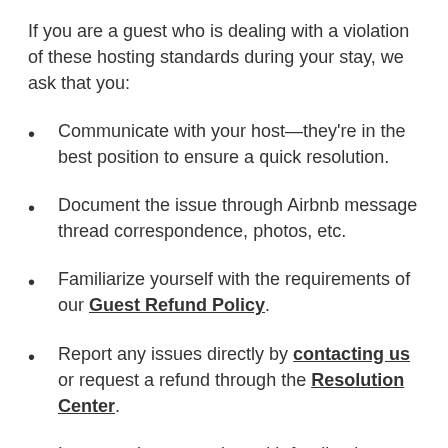If you are a guest who is dealing with a violation of these hosting standards during your stay, we ask that you:
Communicate with your host—they're in the best position to ensure a quick resolution.
Document the issue through Airbnb message thread correspondence, photos, etc.
Familiarize yourself with the requirements of our Guest Refund Policy.
Report any issues directly by contacting us or request a refund through the Resolution Center.
Leave an honest review with feedback so